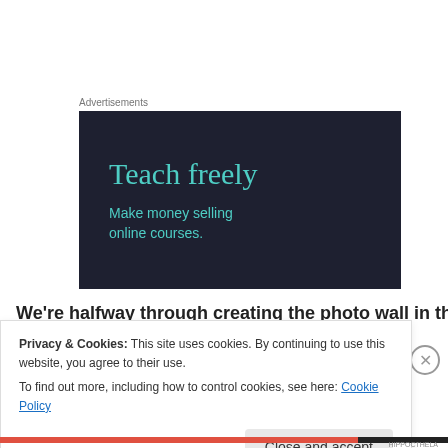Advertisements
[Figure (illustration): Dark navy advertisement box with teal text reading 'Teach freely' (large serif heading) and 'Make money selling online courses.' (smaller subheading)]
We're halfway through creating the photo wall in the
Privacy & Cookies: This site uses cookies. By continuing to use this website, you agree to their use. To find out more, including how to control cookies, see here: Cookie Policy
Close and accept